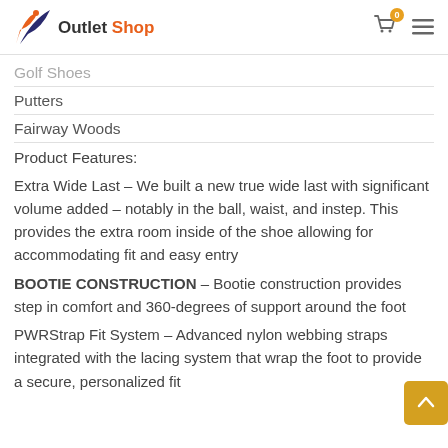Outlet Shop
Golf Shoes
Putters
Fairway Woods
Product Features:
Extra Wide Last – We built a new true wide last with significant volume added – notably in the ball, waist, and instep. This provides the extra room inside of the shoe allowing for accommodating fit and easy entry
BOOTIE CONSTRUCTION – Bootie construction provides step in comfort and 360-degrees of support around the foot
PWRStrap Fit System – Advanced nylon webbing straps integrated with the lacing system that wrap the foot to provide a secure, personalized fit